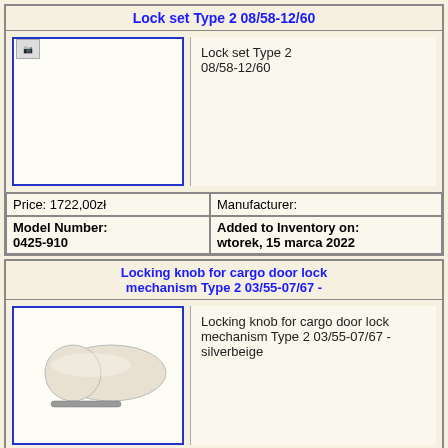Lock set Type 2 08/58-12/60
[Figure (photo): Product image placeholder for Lock set Type 2]
Lock set Type 2 08/58-12/60
| Price | Manufacturer |
| --- | --- |
| Price: 1722,00zł | Manufacturer: |
| Model Number: 0425-910 | Added to Inventory on: wtorek, 15 marca 2022 |
Locking knob for cargo door lock mechanism Type 2 03/55-07/67 -
[Figure (photo): Locking knob for cargo door lock mechanism Type 2 03/55-07/67 - silverbeige]
Locking knob for cargo door lock mechanism Type 2 03/55-07/67 - silverbeige
| Price | Manufacturer |
| --- | --- |
| Price: 41,00zł | Manufacturer: |
| Model Number: 0524-510 | Added to Inventory on: wtorek, 15 marca 2022 |
Łożysko koła przedniego wew. Type 2 -08/63